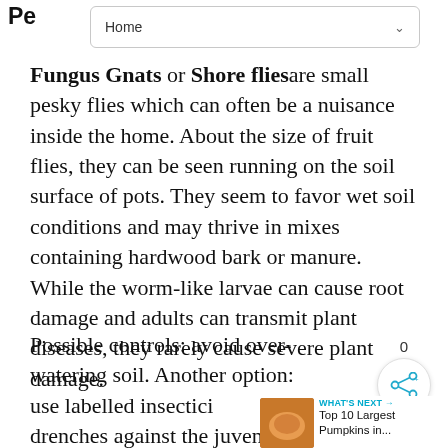Pe
Home
Fungus Gnats or Shore flies are small pesky flies which can often be a nuisance inside the home. About the size of fruit flies, they can be seen running on the soil surface of pots. They seem to favor wet soil conditions and may thrive in mixes containing hardwood bark or manure. While the worm-like larvae can cause root damage and adults can transmit plant diseases, they rarely cause severe plant damage.
Possible controls: avoid over-watering soil. Another option: use labelled insecticide drenches against the juvenile stages. Adults can be controlled with recommended